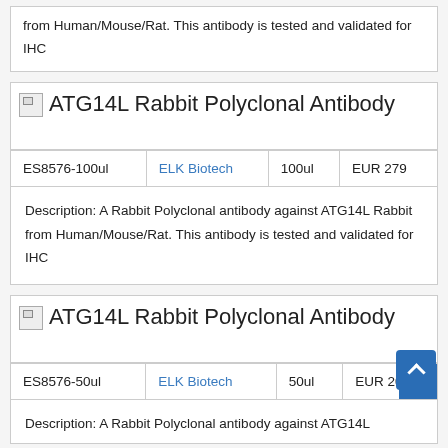from Human/Mouse/Rat. This antibody is tested and validated for IHC
[Figure (other): Broken image placeholder icon]
ATG14L Rabbit Polyclonal Antibody
| ES8576-100ul | ELK Biotech | 100ul | EUR 279 |
| --- | --- | --- | --- |
Description: A Rabbit Polyclonal antibody against ATG14L Rabbit from Human/Mouse/Rat. This antibody is tested and validated for IHC
[Figure (other): Broken image placeholder icon]
ATG14L Rabbit Polyclonal Antibody
| ES8576-50ul | ELK Biotech | 50ul | EUR 20... |
| --- | --- | --- | --- |
Description: A Rabbit Polyclonal antibody against ATG14L